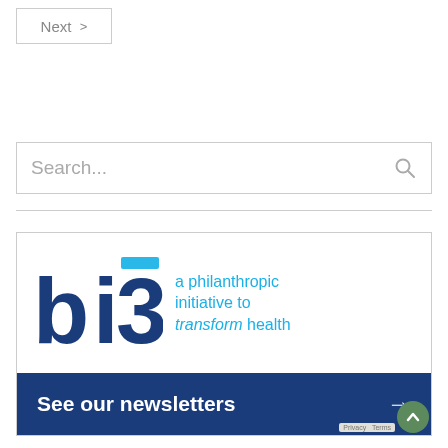Next >
[Figure (screenshot): Search input field with placeholder text 'Search...' and a search icon on the right]
[Figure (infographic): bi3 philanthropic initiative advertisement banner. Top white section shows the 'bi3' logo in dark navy with a cyan accent, alongside text 'a philanthropic initiative to transform health' in cyan. Bottom dark navy section reads 'See our newsletters →' in white bold text.]